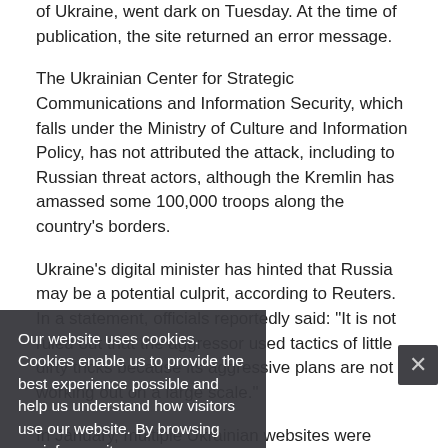of Ukraine, went dark on Tuesday. At the time of publication, the site returned an error message.
The Ukrainian Center for Strategic Communications and Information Security, which falls under the Ministry of Culture and Information Policy, has not attributed the attack, including to Russian threat actors, although the Kremlin has amassed some 100,000 troops along the country's borders.
Ukraine's digital minister has hinted that Russia may be a potential culprit, according to Reuters. In a statement, officials reportedly said: "It is not ruled out that the aggressor used tactics of little dirty tricks because its aggressive plans are not working out on a large scale."
In January, multiple Ukrainian websites were defaced with dire warnings, and propaganda language included "be afraid and expect the worst." Ukraine's state security
Our website uses cookies. Cookies enable us to provide the best experience possible and help us understand how visitors use our website. By browsing govinfosecurity.com, you agree to our use of cookies.